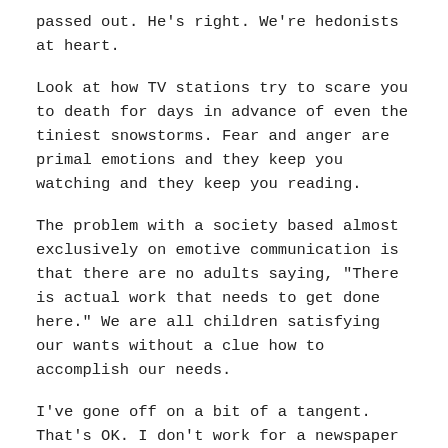passed out. He's right. We're hedonists at heart.
Look at how TV stations try to scare you to death for days in advance of even the tiniest snowstorms. Fear and anger are primal emotions and they keep you watching and they keep you reading.
The problem with a society based almost exclusively on emotive communication is that there are no adults saying, "There is actual work that needs to get done here." We are all children satisfying our wants without a clue how to accomplish our needs.
I've gone off on a bit of a tangent. That's OK. I don't work for a newspaper anymore. I pay for